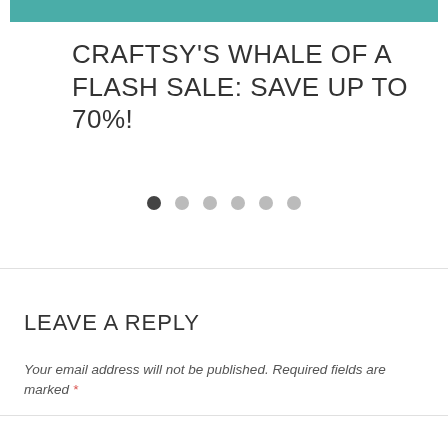[Figure (other): Teal/green header bar with partial logo text visible]
CRAFTSY'S WHALE OF A FLASH SALE: SAVE UP TO 70%!
[Figure (other): Carousel dot navigation: 6 dots, first one dark/active, remaining 5 light grey]
LEAVE A REPLY
Your email address will not be published. Required fields are marked *